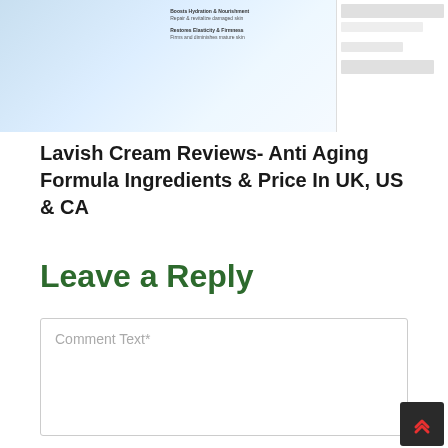[Figure (screenshot): Thumbnail image of a skincare product (cream) advertisement showing a person's hand/face and product details with text about hydration and elasticity, alongside a sidebar with form elements]
Lavish Cream Reviews- Anti Aging Formula Ingredients & Price In UK, US & CA
Leave a Reply
Comment Text*